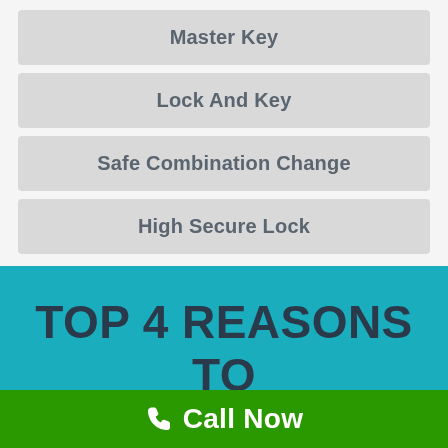Master Key
Lock And Key
Safe Combination Change
High Secure Lock
TOP 4 REASONS TO WORK WITH US
Call Now